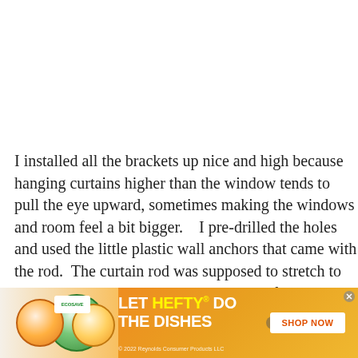I installed all the brackets up nice and high because hanging curtains higher than the window tends to pull the eye upward, sometimes making the windows and room feel a bit bigger.   I pre-drilled the holes and used the little plastic wall anchors that came with the rod.  The curtain rod was supposed to stretch to 84 inches in length.  I pulled it out a tad further, stretching it to 86 inches.
[Figure (other): Advertisement banner for Hefty dish soap with orange/yellow gradient background. Text reads 'LET HEFTY DO THE DISHES' with product images and 'SHOP NOW' button. Copyright 2022 Reynolds Consumer Products LLC.]